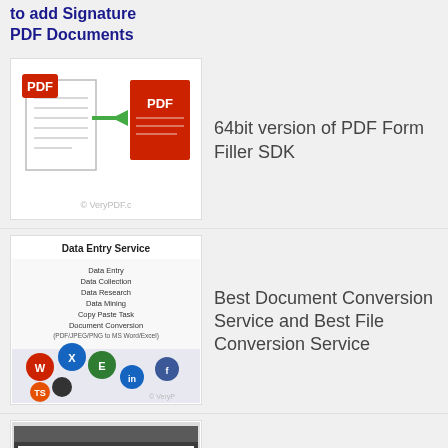to add Signature PDF Documents
[Figure (screenshot): PDF form filler icon showing two PDF document pages with an arrow between them]
64bit version of PDF Form Filler SDK
[Figure (screenshot): Data Entry Service graphic showing various data collection and conversion options]
Best Document Conversion Service and Best File Conversion Service
[Figure (screenshot): Two screenshots showing PDF text replacement with pdftr.exe application]
How to replace short sentence in PDF file by pdftr.exe application?
[Figure (screenshot): Screenshot of a PDF conversion tool interface]
How to convert from fillable PDF file to non-fillable PDF file and keep ori...